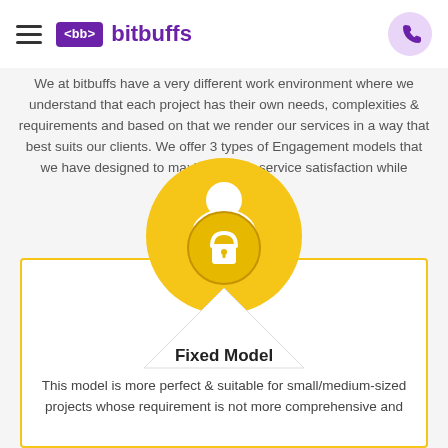<bb> bitbuffs
We at bitbuffs have a very different work environment where we understand that each project has their own needs, complexities & requirements and based on that we render our services in a way that best suits our clients. We offer 3 types of Engagement models that we have designed to maximize your service satisfaction while reducing the cost.
[Figure (illustration): Golden circle with white person icon and lock symbol inside; below it a white triangle shape with 'Fixed Model' label; all inside a yellow-bordered card]
This model is more perfect & suitable for small/medium-sized projects whose requirement is not more comprehensive and